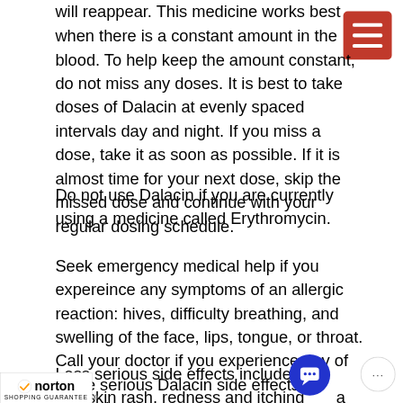will reappear. This medicine works best when there is a constant amount in the blood. To help keep the amount constant, do not miss any doses. It is best to take doses of Dalacin at evenly spaced intervals day and night. If you miss a dose, take it as soon as possible. If it is almost time for your next dose, skip the missed dose and continue with your regular dosing schedule.
Do not use Dalacin if you are currently using a medicine called Erythromycin.
Seek emergency medical help if you expereince any symptoms of an allergic reaction: hives, difficulty breathing, and swelling of the face, lips, tongue, or throat. Call your doctor if you experience any of these serious Dalacin side effects: abdominal or
Less serious side effects include: so... and skin rash, redness and itching... a ...ng or bruising, or itching of rectal or genital